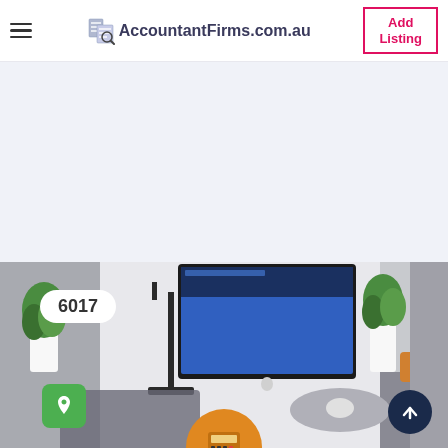AccountantFirms.com.au — Add Listing
[Figure (photo): Office desk scene with iMac computer, plants, tablet, and keyboard. A badge showing '6017' is overlaid on the left. A green location pin button and a dark navy scroll-to-top arrow button are visible. An orange circle with a calculator icon is at the bottom center.]